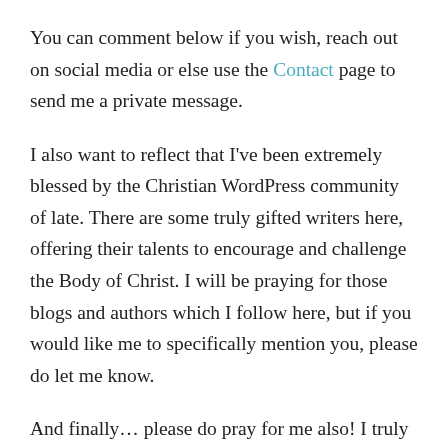You can comment below if you wish, reach out on social media or else use the Contact page to send me a private message.
I also want to reflect that I've been extremely blessed by the Christian WordPress community of late. There are some truly gifted writers here, offering their talents to encourage and challenge the Body of Christ. I will be praying for those blogs and authors which I follow here, but if you would like me to specifically mention you, please do let me know.
And finally… please do pray for me also! I truly value your them! I write mostly about the Bible, but perhaps I should pen a few words about my life more generally too. Not that it is particularly exciting, you understand,